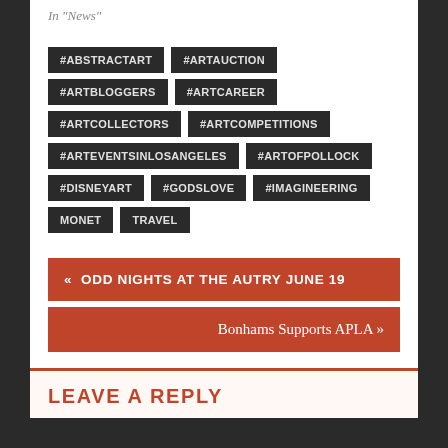In "News"
#ABSTRACTART
#ARTAUCTION
#ARTBLOGGERS
#ARTCAREER
#ARTCOLLECTORS
#ARTCOMPETITIONS
#ARTEVENTSINLOSANGELES
#ARTOFPOLLOCK
#DISNEYART
#GODSLOVE
#IMAGINEERING
MONET
TRAVEL
« ODD NIGHTS AT THE AUTRY JUNE 19
Bonhams Supports APLA »
LEAVE A REPLY